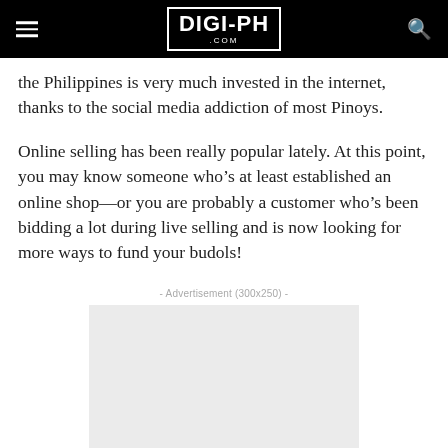DIGI-PH .COM
the Philippines is very much invested in the internet, thanks to the social media addiction of most Pinoys.
Online selling has been really popular lately. At this point, you may know someone who’s at least established an online shop—or you are probably a customer who’s been bidding a lot during live selling and is now looking for more ways to fund your budols!
[Figure (other): Advertisement placeholder box (300x250)]